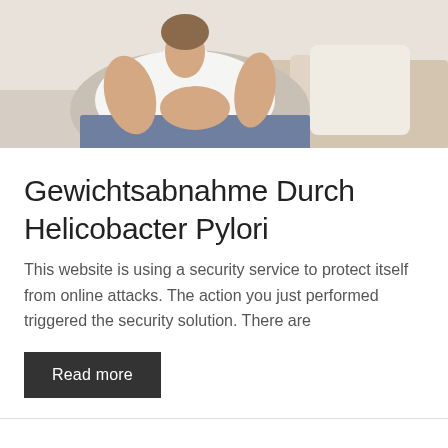[Figure (photo): Woman sitting on a couch holding her stomach area, wearing white top and blue jeans, light background with pillow]
Gewichtsabnahme Durch Helicobacter Pylori
This website is using a security service to protect itself from online attacks. The action you just performed triggered the security solution. There are
Read more
Sexuelle Potenzpillen
Mädchen, Mädchen ist eine deutsche Teenie-Komödie von Dennis Gansel aus dem Jahr 2001. Geburtstag trifft die blonde Inken in der Umkleidekabine ihrer Volleyballmannschaft ihre